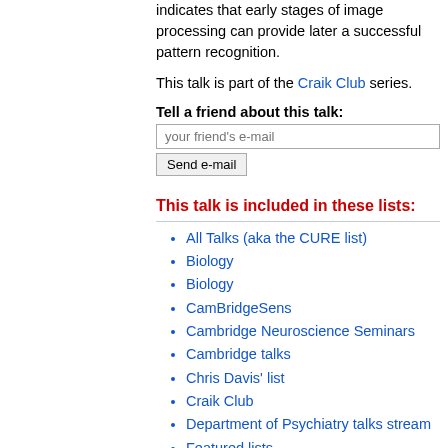indicates that early stages of image processing can provide later a successful pattern recognition.
This talk is part of the Craik Club series.
Tell a friend about this talk:
Send e-mail
This talk is included in these lists:
All Talks (aka the CURE list)
Biology
Biology
CamBridgeSens
Cambridge Neuroscience Seminars
Cambridge talks
Chris Davis' list
Craik Club
Department of Psychiatry talks stream
Featured lists